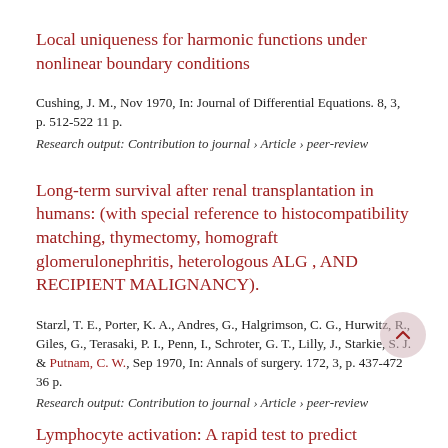Local uniqueness for harmonic functions under nonlinear boundary conditions
Cushing, J. M., Nov 1970, In: Journal of Differential Equations. 8, 3, p. 512-522 11 p.
Research output: Contribution to journal › Article › peer-review
Long-term survival after renal transplantation in humans: (with special reference to histocompatibility matching, thymectomy, homograft glomerulonephritis, heterologous ALG , AND RECIPIENT MALIGNANCY).
Starzl, T. E., Porter, K. A., Andres, G., Halgrimson, C. G., Hurwitz, R., Giles, G., Terasaki, P. I., Penn, I., Schroter, G. T., Lilly, J., Starkie, S. J. & Putnam, C. W., Sep 1970, In: Annals of surgery. 172, 3, p. 437-472 36 p.
Research output: Contribution to journal › Article › peer-review
Lymphocyte activation: A rapid test to predict